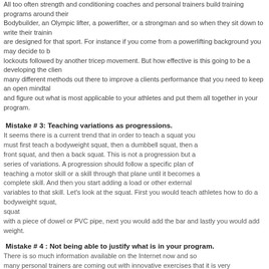All too often strength and conditioning coaches and personal trainers build training programs around their own background whether it is a Bodybuilder, an Olympic lifter, a powerlifter, or a strongman and so when they sit down to write their training programs they are designed for that sport. For instance if you come from a powerlifting background you may decide to be using board presses and lockouts followed by another tricep movement. But how effective is this going to be a developing the client? There are so many different methods out there to improve a clients performance that you need to keep an open mind take different things and figure out what is most applicable to your athletes and put them all together in your program.
Mistake # 3: Teaching variations as progressions.
It seems there is a current trend that in order to teach a squat you must first teach a bodyweight squat, then a dumbbell squat, then a front squat, and then a back squat. This is not a progression but a series of variations. A progression should follow a specific plan of teaching a motor skill or a skill through that plane until it becomes a complete skill. And then you start adding a load or other external variables to that skill. Let's look at the squat. First you would teach athletes how to do a bodyweight squat with a piece of dowel or PVC pipe, next you would add the bar and lastly you would add weight.
Mistake # 4 : Not being able to justify what is in your program.
There is so much information available on the Internet now and so many personal trainers are coming out with innovative exercises that it is very easy to get caught up in the latest and greatest and forget about what it is we really need to achieve with each training session. I am not saying that you should not include other exercises but make sure you are including them for a reason and not because you read somewhere that you should. If you can't justify why everything in your program is in there, then it shouldn't be in your program.
Mistake # 5: Lack of Attention